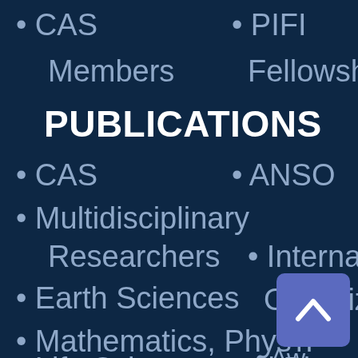• CAS
• PIFI
Members
Fellowshi
PUBLICATIONS
• CAS
• ANSO
• Multidisciplinary
Researchers
• Internatio
• Earth Sciences
Organiza
• Mathematics, Phys
• Aw
• Life Sciences and Biotecl